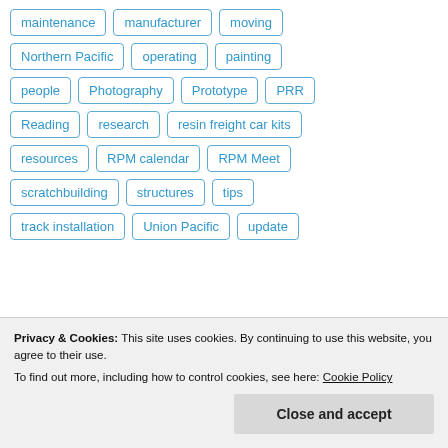maintenance
manufacturer
moving
Northern Pacific
operating
painting
people
Photography
Prototype
PRR
Reading
research
resin freight car kits
resources
RPM calendar
RPM Meet
scratchbuilding
structures
tips
track installation
Union Pacific
update
Privacy & Cookies: This site uses cookies. By continuing to use this website, you agree to their use. To find out more, including how to control cookies, see here: Cookie Policy
Close and accept